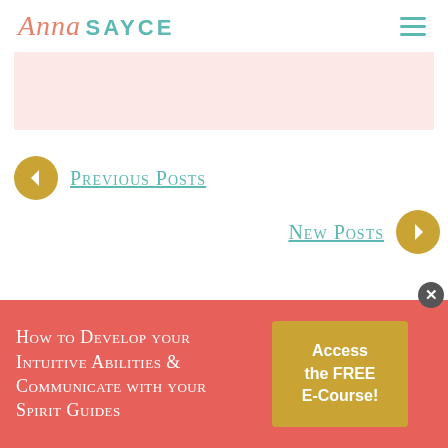Anna SAYCE
[Figure (other): Pink/light rose colored empty banner box]
< Previous Posts
New Posts >
This website uses cookies to improve your experience. We'll
How to Develop your Intuitive Abilities & Communicate with your Spirit Guides
Access the FREE E-Course!